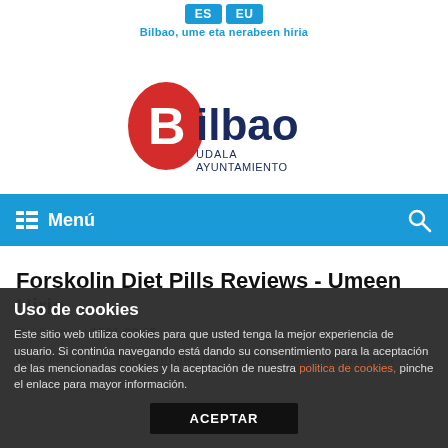ES | EU
Bilbao, ume eta nerabeen hiria
[Figure (logo): Bilbao Udala Ayuntamiento logo — red oval with white B, text Bilbao in dark blue, subtitle UDALA AYUNTAMIENTO]
Menú
Forskolin Diet Pills Reviews - Umeen Hiria
Publicado el 2021-03-15
Welcome To Buy forskolin diet pills reviews weight burning pills
Uso de cookies
Este sitio web utiliza cookies para que usted tenga la mejor experiencia de usuario. Si continúa navegando está dando su consentimiento para la aceptación de las mencionadas cookies y la aceptación de nuestra politica de cookies, pinche el enlace para mayor información.
ACEPTAR